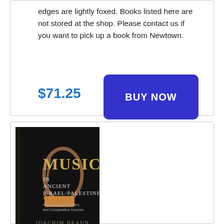edges are lightly foxed. Books listed here are not stored at the shop. Please contact us if you want to pick up a book from Newtown.
$71.25
[Figure (other): Blue BUY NOW button]
[Figure (photo): Book cover: Music in Ancient Israel/Palestine - Archaeological, Written, and Comparative Sources by Joachim Braun]
Music in Ancient Israel/Palestine